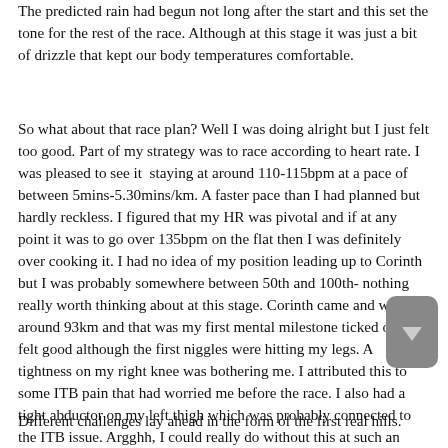The predicted rain had begun not long after the start and this set the tone for the rest of the race. Although at this stage it was just a bit of drizzle that kept our body temperatures comfortable.
So what about that race plan? Well I was doing alright but I just felt too good. Part of my strategy was to race according to heart rate. I was pleased to see it  staying at around 110-115bpm at a pace of between 5mins-5.30mins/km. A faster pace than I had planned but hardly reckless. I figured that my HR was pivotal and if at any point it was to go over 135bpm on the flat then I was definitely over cooking it. I had no idea of my position leading up to Corinth but I was probably somewhere between 50th and 100th- nothing really worth thinking about at this stage. Corinth came and went at around 93km and that was my first mental milestone ticked off. I felt good although the first niggles were hitting my legs. A tightness on my right knee was bothering me. I attributed this to some ITB pain that had worried me before the race. I also had a tight abductor on my left thigh which was probably connected to the ITB issue. Argghh, I could really do without this at such an early stage.
Different challenges lay ahead in the form of the first real hills.